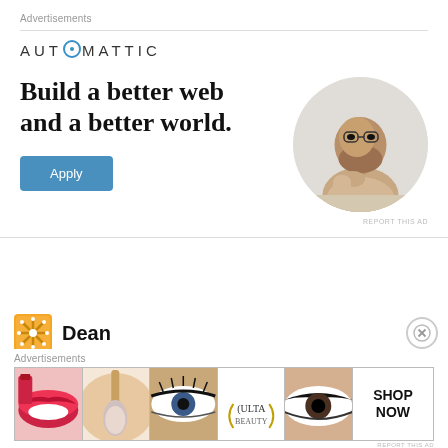Advertisements
[Figure (illustration): Automattic advertisement with logo, headline 'Build a better web and a better world.', Apply button, and circular photo of a man thinking at a desk. Report this ad link at bottom right.]
Dean
Advertisements
[Figure (photo): Ulta Beauty advertisement strip showing makeup imagery: lipstick, makeup brush, eye, Ulta Beauty logo, dramatic eye makeup, and SHOP NOW call to action.]